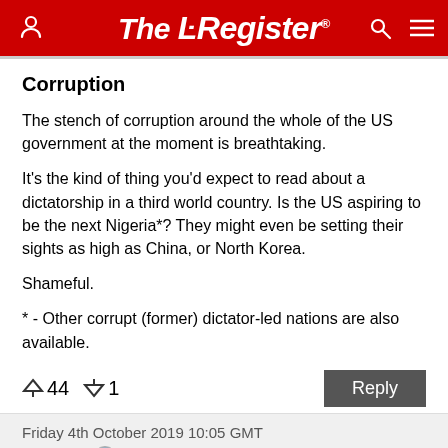The Register
Corruption
The stench of corruption around the whole of the US government at the moment is breathtaking.
It's the kind of thing you'd expect to read about a dictatorship in a third world country. Is the US aspiring to be the next Nigeria*? They might even be setting their sights as high as China, or North Korea.
Shameful.
* - Other corrupt (former) dictator-led nations are also available.
↑44  ↓1   Reply
Friday 4th October 2019 10:05 GMT
katrinab